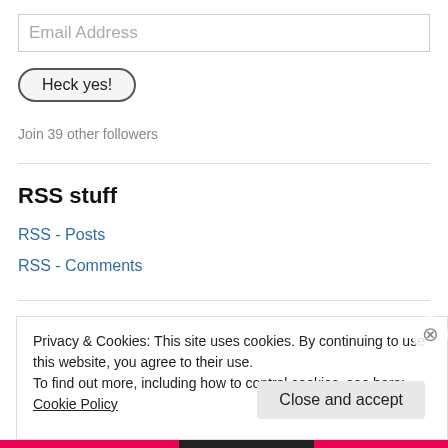Email Address
Heck yes!
Join 39 other followers
RSS stuff
RSS - Posts
RSS - Comments
Privacy & Cookies: This site uses cookies. By continuing to use this website, you agree to their use.
To find out more, including how to control cookies, see here: Cookie Policy
Close and accept